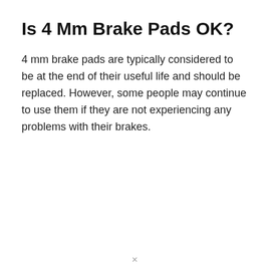Is 4 Mm Brake Pads OK?
4 mm brake pads are typically considered to be at the end of their useful life and should be replaced. However, some people may continue to use them if they are not experiencing any problems with their brakes.